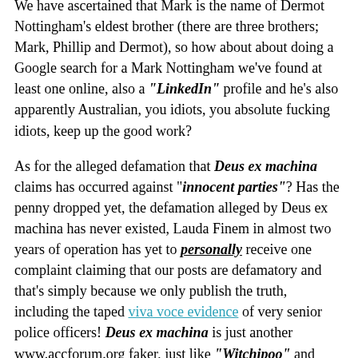We have ascertained that Mark is the name of Dermot Nottingham's eldest brother (there are three brothers; Mark, Phillip and Dermot), so how about about doing a Google search for a Mark Nottingham we've found at least one online, also a "LinkedIn" profile and he's also apparently Australian, you idiots, you absolute fucking idiots, keep up the good work?
As for the alleged defamation that Deus ex machina claims has occurred against "innocent parties"? Has the penny dropped yet, the defamation alleged by Deus ex machina has never existed, Lauda Finem in almost two years of operation has yet to personally receive one complaint claiming that our posts are defamatory and that's simply because we only publish the truth, including the taped viva voce evidence of very senior police officers! Deus ex machina is just another www.accforum.org faker, just like "Witchipoo" and obviously a member of the very same group responsible for harming